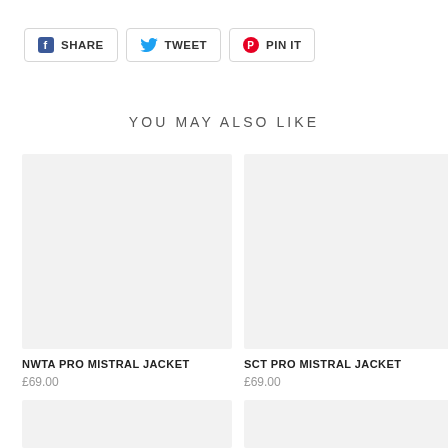[Figure (other): Social share buttons: Facebook SHARE, Twitter TWEET, Pinterest PIN IT]
YOU MAY ALSO LIKE
[Figure (photo): Product image placeholder for NWTA PRO MISTRAL JACKET]
NWTA PRO MISTRAL JACKET
£69.00
[Figure (photo): Product image placeholder for SCT PRO MISTRAL JACKET]
SCT PRO MISTRAL JACKET
£69.00
[Figure (photo): Product image placeholder, bottom left]
[Figure (photo): Product image placeholder, bottom right]